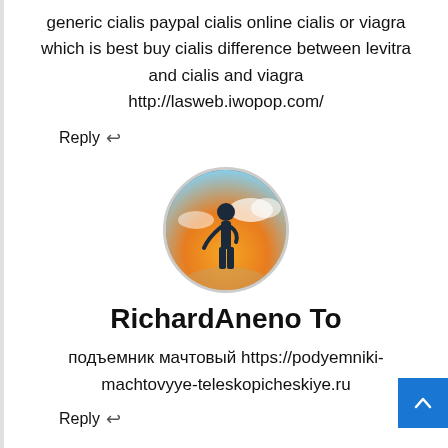generic cialis paypal cialis online cialis or viagra which is best buy cialis difference between levitra and cialis and viagra http://lasweb.iwopop.com/
Reply ↩
[Figure (photo): Circular avatar image showing a silhouette of a person standing against a sunset sky with clouds]
RichardAneno To
подъемник мачтовый https://podyemniki-machtovyye-teleskopicheskiye.ru
Reply ↩